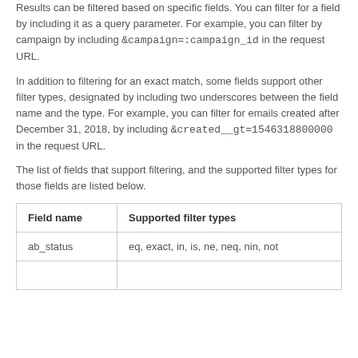Results can be filtered based on specific fields. You can filter for a field by including it as a query parameter. For example, you can filter by campaign by including &campaign=:campaign_id in the request URL.
In addition to filtering for an exact match, some fields support other filter types, designated by including two underscores between the field name and the type. For example, you can filter for emails created after December 31, 2018, by including &created__gt=1546318800000 in the request URL.
The list of fields that support filtering, and the supported filter types for those fields are listed below.
| Field name | Supported filter types |
| --- | --- |
| ab_status | eq, exact, in, is, ne, neq, nin, not |